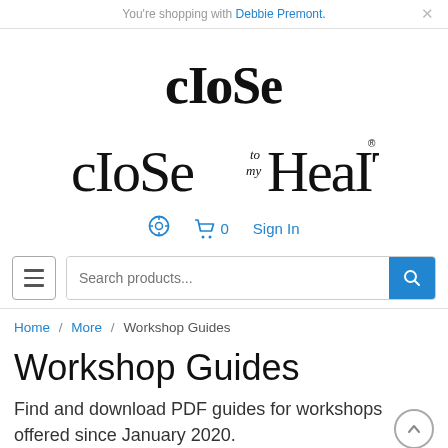You're shopping with Debbie Premont.
[Figure (logo): Close To My Heart logo — stylized text logo reading 'close to my Heart' with decorative lettering]
Search icon | Cart 0 | Sign In
Hamburger menu | Search products...
Home / More / Workshop Guides
Workshop Guides
Find and download PDF guides for workshops offered since January 2020.
To find guides for a workshop, try searching...